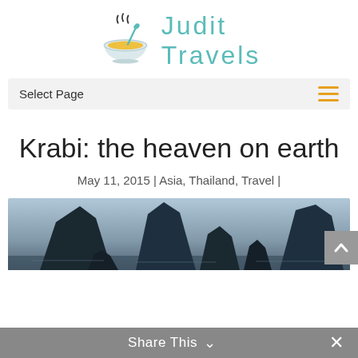[Figure (logo): Judit Travels logo: a bowl of soup with steam and a spoon, colored in light blue and yellow, next to teal text reading 'Judit Travels']
Judit Travels
Select Page
Krabi: the heaven on earth
May 11, 2015 | Asia, Thailand, Travel |
[Figure (photo): Photo of Krabi, Thailand, showing dramatic limestone cliffs rising from water at dusk/dawn, silhouetted against a pale sky]